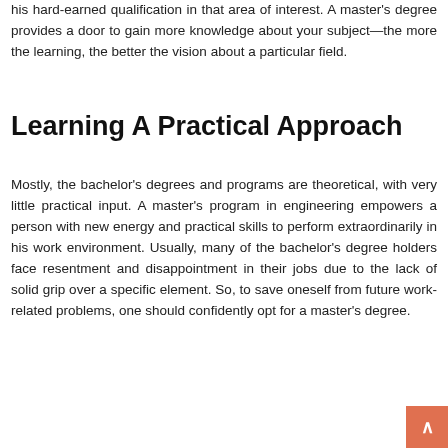his hard-earned qualification in that area of interest. A master's degree provides a door to gain more knowledge about your subject—the more the learning, the better the vision about a particular field.
Learning A Practical Approach
Mostly, the bachelor's degrees and programs are theoretical, with very little practical input. A master's program in engineering empowers a person with new energy and practical skills to perform extraordinarily in his work environment. Usually, many of the bachelor's degree holders face resentment and disappointment in their jobs due to the lack of solid grip over a specific element. So, to save oneself from future work-related problems, one should confidently opt for a master's degree.